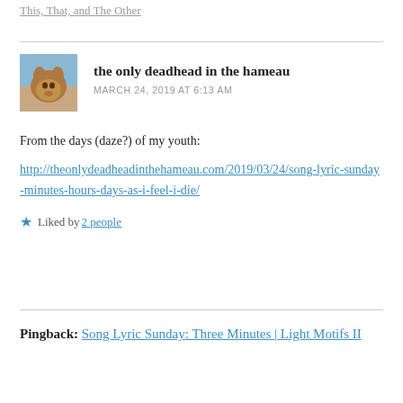This, That, and The Other
the only deadhead in the hameau
MARCH 24, 2019 AT 6:13 AM
From the days (daze?) of my youth:
http://theonlydeadheadinthehameau.com/2019/03/24/song-lyric-sunday-minutes-hours-days-as-i-feel-i-die/
Liked by 2 people
Pingback: Song Lyric Sunday: Three Minutes | Light Motifs II